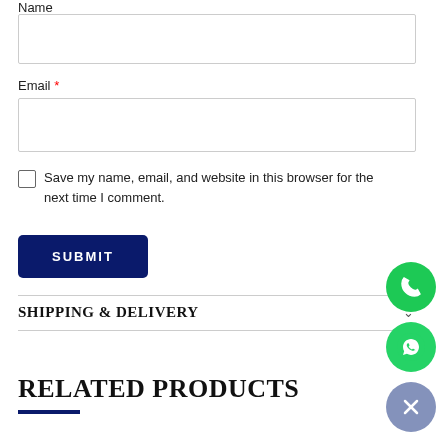Name
Email *
Save my name, email, and website in this browser for the next time I comment.
SUBMIT
SHIPPING & DELIVERY
RELATED PRODUCTS